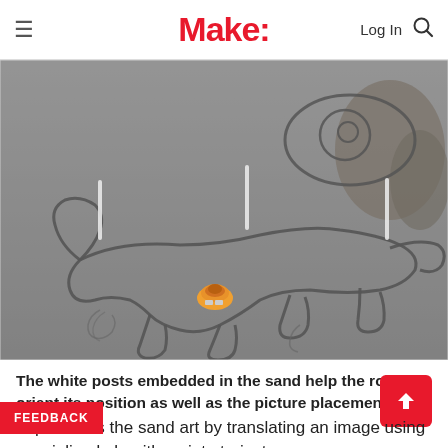Make:
[Figure (photo): Aerial view of a robot drawing a large sand art figure of what appears to be a dog or animal on a gray sandy beach. White posts are embedded in the sand. A small orange robot is visible near the center of the image.]
The white posts embedded in the sand help the robot orient its position as well as the picture placement.
ot produces the sand art by translating an image using specialized algorithms into trajectory